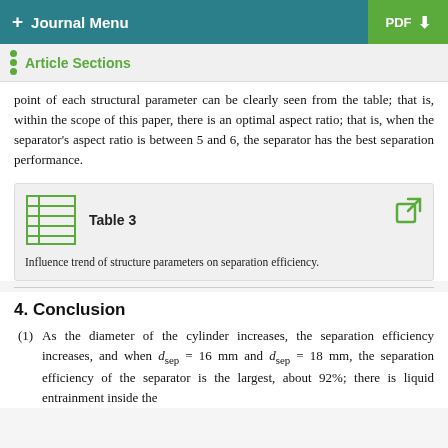+ Journal Menu | PDF
Article Sections
point of each structural parameter can be clearly seen from the table; that is, within the scope of this paper, there is an optimal aspect ratio; that is, when the separator's aspect ratio is between 5 and 6, the separator has the best separation performance.
Table 3
Influence trend of structure parameters on separation efficiency.
4. Conclusion
(1) As the diameter of the cylinder increases, the separation efficiency increases, and when d_sep = 16 mm and d_sep = 18 mm, the separation efficiency of the separator is the largest, about 92%; there is liquid entrainment inside the